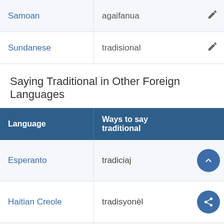| Language | Ways to say traditional |  |
| --- | --- | --- |
| Samoan | agaifanua | ✏ |
| Sundanese | tradisional | ✏ |
Saying Traditional in Other Foreign Languages
| Language | Ways to say traditional |  |
| --- | --- | --- |
| Esperanto | tradiciaj | ▲ |
| Haitian Creole | tradisyonèl | share |
| (partial) | (traditional) | ✏ |